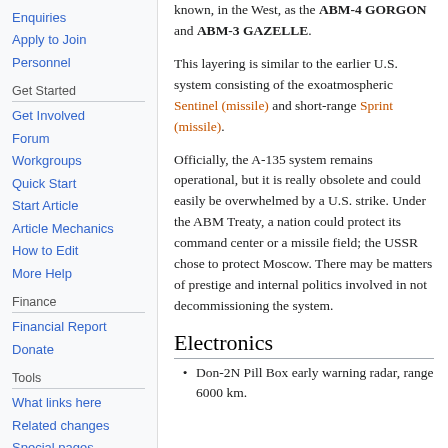known, in the West, as the ABM-4 GORGON and ABM-3 GAZELLE.
This layering is similar to the earlier U.S. system consisting of the exoatmospheric Sentinel (missile) and short-range Sprint (missile).
Officially, the A-135 system remains operational, but it is really obsolete and could easily be overwhelmed by a U.S. strike. Under the ABM Treaty, a nation could protect its command center or a missile field; the USSR chose to protect Moscow. There may be matters of prestige and internal politics involved in not decommissioning the system.
Electronics
Don-2N Pill Box early warning radar, range 6000 km.
Enquiries
Apply to Join
Personnel
Get Started
Get Involved
Forum
Workgroups
Quick Start
Start Article
Article Mechanics
How to Edit
More Help
Finance
Financial Report
Donate
Tools
What links here
Related changes
Special pages
Printable version